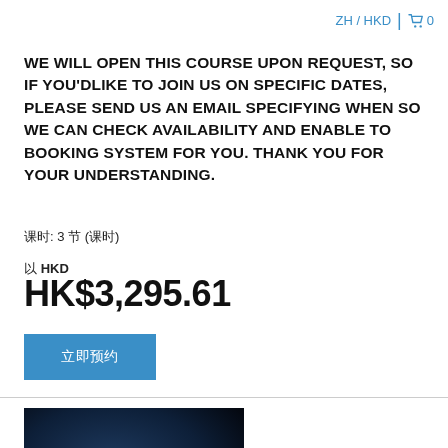ZH / HKD  🛒 0
WE WILL OPEN THIS COURSE UPON REQUEST, SO IF YOU'DLIKE TO JOIN US ON SPECIFIC DATES, PLEASE SEND US AN EMAIL SPECIFYING WHEN SO WE CAN CHECK AVAILABILITY AND ENABLE TO BOOKING SYSTEM FOR YOU. THANK YOU FOR YOUR UNDERSTANDING.
课时: 3 节 (课时)
以 HKD
HK$3,295.61
立即预约
[Figure (photo): A person in dark clothing holding or interacting with a metallic cylindrical object, photographed against a dark background]